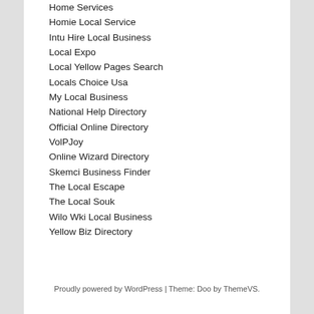Home Services
Homie Local Service
Intu Hire Local Business
Local Expo
Local Yellow Pages Search
Locals Choice Usa
My Local Business
National Help Directory
Official Online Directory
VolPJoy
Online Wizard Directory
Skemci Business Finder
The Local Escape
The Local Souk
Wilo Wki Local Business
Yellow Biz Directory
Proudly powered by WordPress | Theme: Doo by ThemeVS.